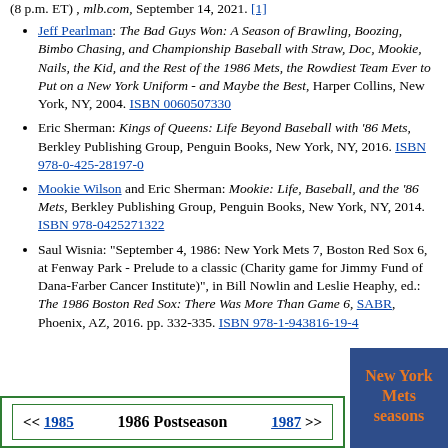(8 p.m. ET) , mlb.com, September 14, 2021. [1]
Jeff Pearlman: The Bad Guys Won: A Season of Brawling, Boozing, Bimbo Chasing, and Championship Baseball with Straw, Doc, Mookie, Nails, the Kid, and the Rest of the 1986 Mets, the Rowdiest Team Ever to Put on a New York Uniform - and Maybe the Best, Harper Collins, New York, NY, 2004. ISBN 0060507330
Eric Sherman: Kings of Queens: Life Beyond Baseball with '86 Mets, Berkley Publishing Group, Penguin Books, New York, NY, 2016. ISBN 978-0-425-28197-0
Mookie Wilson and Eric Sherman: Mookie: Life, Baseball, and the '86 Mets, Berkley Publishing Group, Penguin Books, New York, NY, 2014. ISBN 978-0425271322
Saul Wisnia: "September 4, 1986: New York Mets 7, Boston Red Sox 6, at Fenway Park - Prelude to a classic (Charity game for Jimmy Fund of Dana-Farber Cancer Institute)", in Bill Nowlin and Leslie Heaphy, ed.: The 1986 Boston Red Sox: There Was More Than Game 6, SABR, Phoenix, AZ, 2016. pp. 332-335. ISBN 978-1-943816-19-4
<< 1985   1986 Postseason   1987 >>
New York Mets seasons